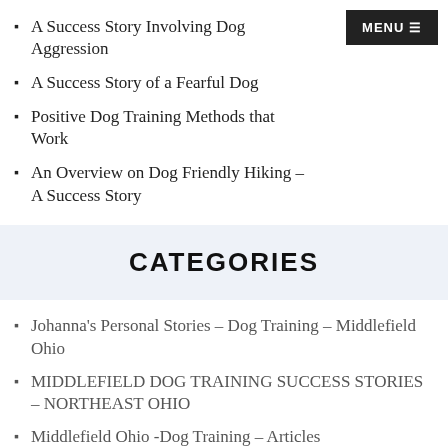A Success Story Involving Dog Aggression
A Success Story of a Fearful Dog
Positive Dog Training Methods that Work
An Overview on Dog Friendly Hiking – A Success Story
CATEGORIES
Johanna's Personal Stories – Dog Training – Middlefield Ohio
MIDDLEFIELD DOG TRAINING SUCCESS STORIES – NORTHEAST OHIO
Middlefield Ohio -Dog Training – Articles
Puppy Training – Middlefield Ohio – Articles